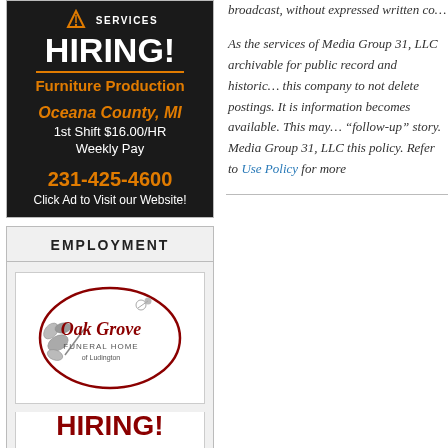[Figure (illustration): Black background hiring ad for Furniture Production in Oceana County, MI. Shows HIRING! in white bold text, orange Furniture Production subtitle, orange Oceana County MI, white 1st Shift $16.00/HR, Weekly Pay, orange phone 231-425-4600, white Click Ad to Visit our Website!]
EMPLOYMENT
[Figure (logo): Oak Grove Funeral Home of Ludington logo - oval with leaf/branch illustration and scripted text]
HIRING! Part-Time/On Call $15-$30 per hour Retirees encouraged
broadcast, without expressed written co... As the services of Media Group 31, LLC archivable for public record and historic... this company to not delete postings. It is information becomes available. This may... "follow-up" story. Media Group 31, LLC this policy. Refer to Use Policy for more